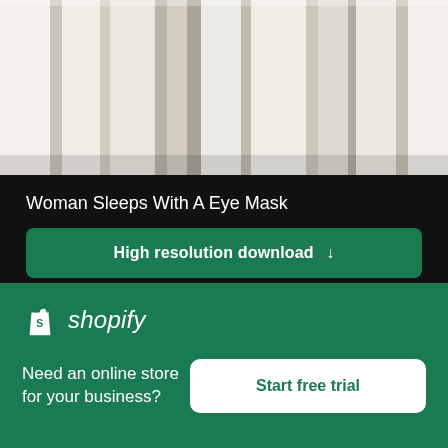[Figure (photo): Striped fabric texture in white, beige, and gray tones — close-up of textile with vertical stripes]
Woman Sleeps With A Eye Mask
High resolution download ↓
[Figure (photo): White crumpled fabric/bedding with a black tablet device in the center]
[Figure (logo): Shopify logo with shopping bag icon and italic 'shopify' text]
Need an online store for your business?
Start free trial